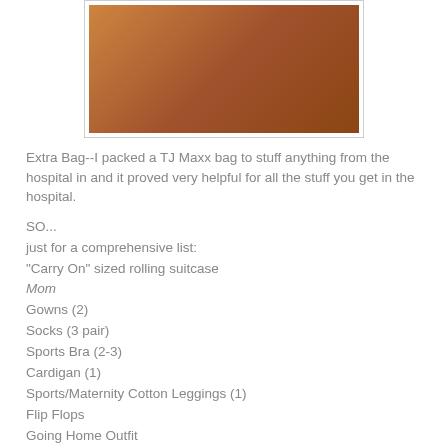[Figure (photo): Photo of craft items, clear plastic bottles/containers, and decorative items arranged on a brown surface]
Extra Bag--I packed a TJ Maxx bag to stuff anything from the hospital in and it proved very helpful for all the stuff you get in the hospital.
SO...
just for a comprehensive list:
"Carry On" sized rolling suitcase
Mom
Gowns (2)
Socks (3 pair)
Sports Bra (2-3)
Cardigan (1)
Sports/Maternity Cotton Leggings (1)
Flip Flops
Going Home Outfit